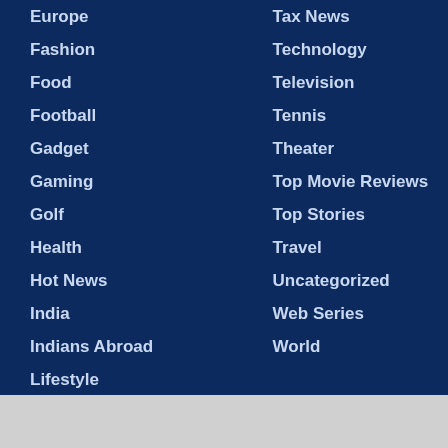Europe
Tax News
Fashion
Technology
Food
Television
Football
Tennis
Gadget
Theater
Gaming
Top Movie Reviews
Golf
Top Stories
Health
Travel
Hot News
Uncategorized
India
Web Series
Indians Abroad
World
Lifestyle
Site Navigation
Home
Advertisement
Contact Us